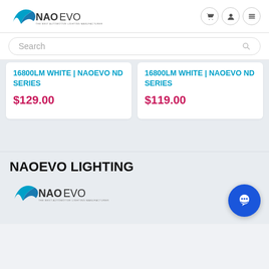[Figure (logo): NAOEVO logo with swoosh mark - THE BEST AUTOMOTIVE LIGHTING MANUFACTURER]
Search
16800LM WHITE | NAOEVO ND SERIES
$129.00
16800LM WHITE | NAOEVO ND SERIES
$119.00
NAOEVO LIGHTING
[Figure (logo): NAOEVO logo with swoosh mark - THE BEST AUTOMOTIVE LIGHTING MANUFACTURER (footer)]